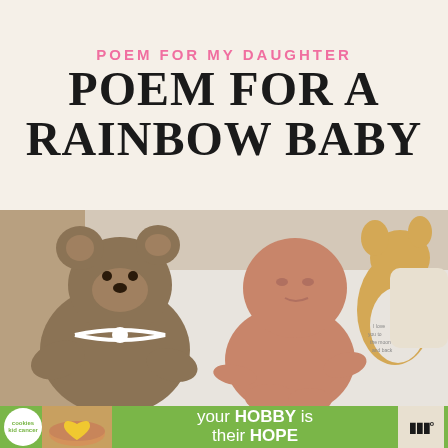POEM FOR MY DAUGHTER
POEM FOR A RAINBOW BABY
[Figure (photo): A newborn baby lying on its back between a brown teddy bear on the left and a stuffed animal toy on the right, on a white surface]
[Figure (infographic): Advertisement banner with green background: cookies kid cancer badge, photo of hands holding a heart-shaped cookie, text 'your HOBBY is their HOPE', and a logo on the right]